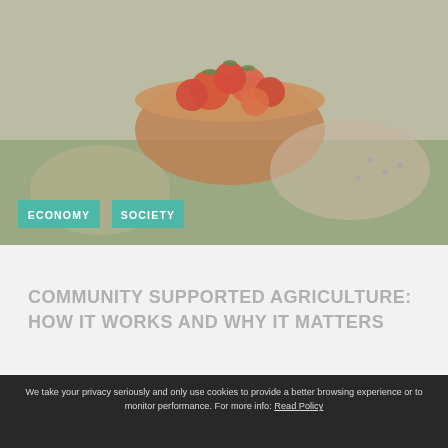[Figure (photo): Hero photo of a bowl of tomatoes held by person on grass, partially faded/washed out. Tags 'ECONOMY' and 'SOCIETY' overlaid in teal boxes at bottom left.]
COMMUNITY SUPPORTED AGRICULTURE: HOW IT WORKS AND WHY IT MATTERS
We take your privacy seriously and only use cookies to provide a better browsing experience or to monitor performance. For more info: Read Policy
Additional — Third-party services like Facebook and Youtube.
Essential — Minimum necessary, no personal data stored.
CONFIRM